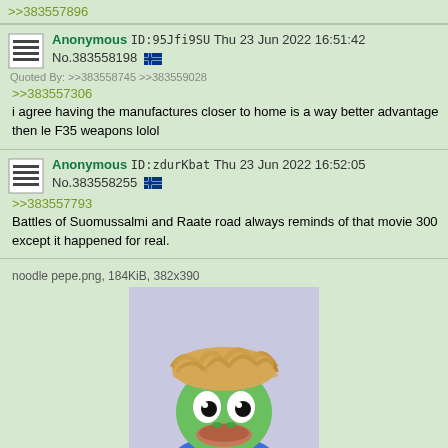>>383557896
Anonymous ID:95Jfi9SU Thu 23 Jun 2022 16:51:42 No.383558198
Quoted By: >>383558745 >>383559028
>>383557306
i agree having the manufactures closer to home is a way better advantage then le F35 weapons lolol
Anonymous ID:zdurKbat Thu 23 Jun 2022 16:52:05 No.383558255
>>383557793
Battles of Suomussalmi and Raate road always reminds of that movie 300 except it happened for real.
noodle pepe.png, 184KiB, 382x390
[Figure (illustration): Pepe the frog meme with ramen noodles on head, wearing blue shirt, light purple background]
Anonymous ID:SDK/OnSc Thu 23 Jun 2022 16:52:28